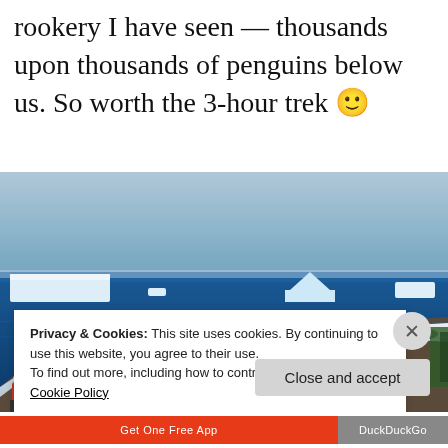rookery I have seen — thousands upon thousands of penguins below us. So worth the 3-hour trek 🙂
[Figure (photo): Antarctic landscape photograph showing people in red jackets hiking up a snow-covered rocky hillside with the deep blue ocean behind them dotted with icebergs and sea ice. Sky is overcast blue-grey.]
Privacy & Cookies: This site uses cookies. By continuing to use this website, you agree to their use.
To find out more, including how to control cookies, see here: Cookie Policy